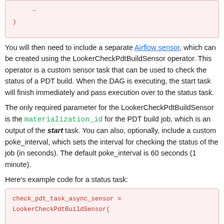[Figure (screenshot): Code block showing closing parenthesis and ellipsis from previous code snippet]
You will then need to include a separate Airflow sensor, which can be created using the LookerCheckPdtBuildSensor operator. This operator is a custom sensor task that can be used to check the status of a PDT build. When the DAG is executing, the start task will finish immediately and pass execution over to the status task.
The only required parameter for the LookerCheckPdtBuildSensor is the materialization_id for the PDT build job, which is an output of the start task. You can also, optionally, include a custom poke_interval, which sets the interval for checking the status of the job (in seconds). The default poke_interval is 60 seconds (1 minute).
Here's example code for a status task:
[Figure (screenshot): Code block showing: check_pdt_task_async_sensor = LookerCheckPdtBuildSensor(  task_id='check_pdt_task_async_sensor',  looker_conn_id='your_conn_id',]